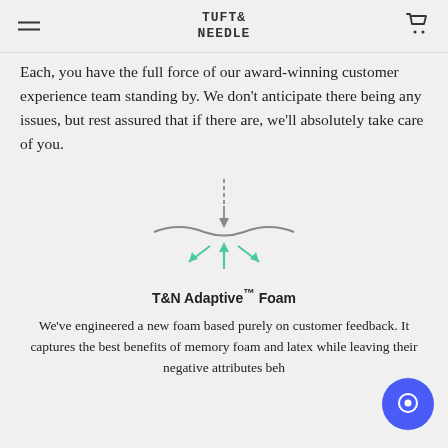TUFT & NEEDLE
Each, you have the full force of our award-winning customer experience team standing by. We don't anticipate there being any issues, but rest assured that if there are, we'll absolutely take care of you.
[Figure (illustration): Diagram showing a downward gray dashed arrow and solid arrow pressing on a wavy surface, with three teal/mint arrows pointing upward and outward from below the surface, illustrating foam pressure response.]
T&N Adaptive™ Foam
We've engineered a new foam based purely on customer feedback. It captures the best benefits of memory foam and latex while leaving their negative attributes beh...